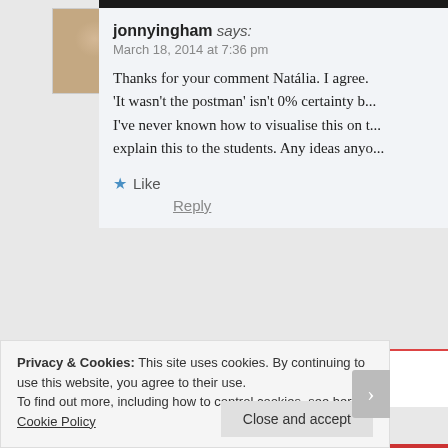[Figure (photo): Avatar photo of jonnyingham — a person in casual clothes outdoors]
jonnyingham says:
March 18, 2014 at 7:36 pm
Thanks for your comment Natália. I agree. 'It wasn't the postman' isn't 0% certainty b... I've never known how to visualise this on t... explain this to the students. Any ideas anyo...
Like
Reply
[Figure (photo): Small avatar of Natália Guerreiro]
Natália Guerreiro says:
Privacy & Cookies: This site uses cookies. By continuing to use this website, you agree to their use.
To find out more, including how to control cookies, see here: Cookie Policy
Close and accept